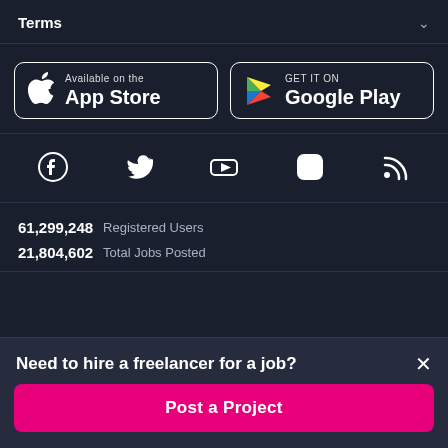Terms
[Figure (logo): App Store and Google Play store download buttons]
[Figure (infographic): Social media icons: Facebook, Twitter, YouTube, Instagram, RSS]
61,299,248  Registered Users
21,804,602  Total Jobs Posted
Need to hire a freelancer for a job?
Post a Project